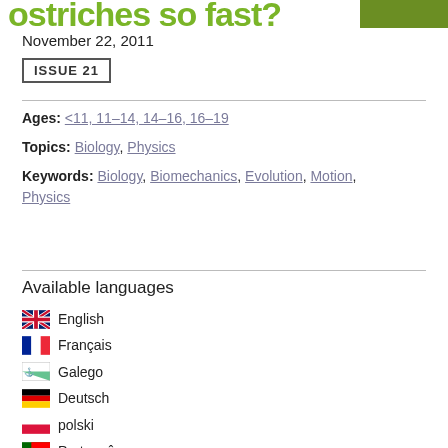ostriches so fast?
November 22, 2011
ISSUE 21
Ages: <11, 11-14, 14-16, 16-19
Topics: Biology, Physics
Keywords: Biology, Biomechanics, Evolution, Motion, Physics
Available languages
English
Français
Galego
Deutsch
polski
Português